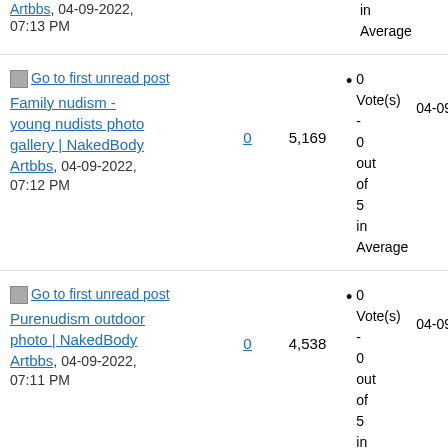Artbbs, 04-09-2022, 07:13 PM
0 Vote(s) - 0 out of 5 in Average  04-09
Go to first unread post Family nudism - young nudists photo gallery | NakedBody Artbbs, 04-09-2022, 07:12 PM
0
5,169
0 Vote(s) - 0 out of 5 in Average  04-09
Go to first unread post Purenudism outdoor photo | NakedBody Artbbs, 04-09-2022, 07:11 PM
0
4,538
0 Vote(s) - 0 out of 5 in Average  04-09